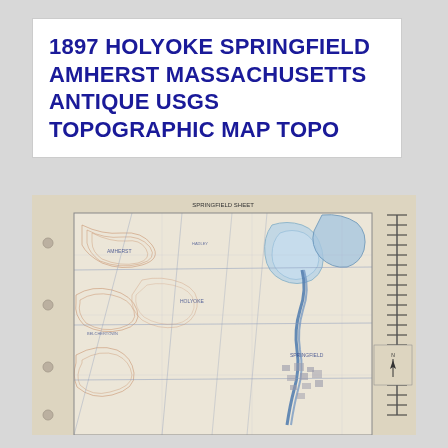1897 HOLYOKE SPRINGFIELD AMHERST MASSACHUSETTS ANTIQUE USGS TOPOGRAPHIC MAP TOPO
[Figure (map): Antique 1897 USGS topographic map of the Holyoke, Springfield, and Amherst area in Massachusetts. The aged paper map shows topographic contour lines, roads, waterways including the Connecticut River, towns, and terrain features rendered in blue and brown ink. The map has punch holes along its left edge indicating it was stored in a binder. A scale bar and legend appear along the right margin.]